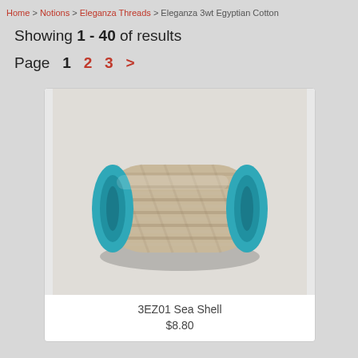Home > Notions > Eleganza Threads > Eleganza 3wt Egyptian Cotton
Showing 1 - 40 of results
Page  1  2  3  >
[Figure (photo): A spool of beige/tan Eleganza 3wt Egyptian Cotton thread with teal end caps, photographed on a light gray background.]
3EZ01 Sea Shell
$8.80